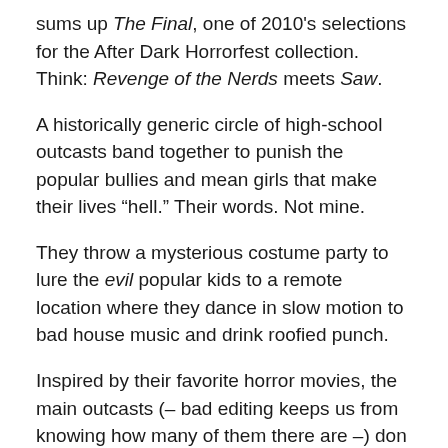sums up The Final, one of 2010's selections for the After Dark Horrorfest collection. Think: Revenge of the Nerds meets Saw.
A historically generic circle of high-school outcasts band together to punish the popular bullies and mean girls that make their lives “hell.” Their words. Not mine.
They throw a mysterious costume party to lure the evil popular kids to a remote location where they dance in slow motion to bad house music and drink roofied punch.
Inspired by their favorite horror movies, the main outcasts (– bad editing keeps us from knowing how many of them there are –) don “scary” masks and grab some weapons so that their tormentors wake up to find themselves bound and shackled helplessly to the floor. They’re obviously in